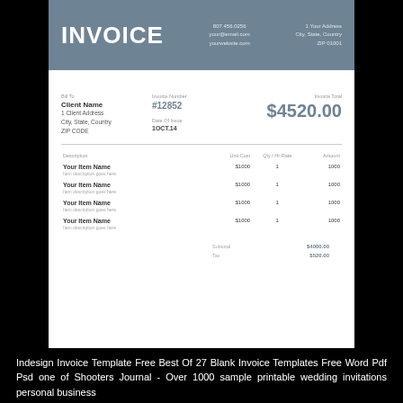INVOICE
807.456.0256
your@email.com
yourwebsite.com
1 Your Address
City, State, Country
ZIP 01001
Bill To
Client Name
1 Client Address
City, State, Country
ZIP CODE
Invoice Number
#12852
Invoice Total
$4520.00
Date Of Issue
1OCT.14
| Description | Unit Cost | Qty / Hr Rate | Amount |
| --- | --- | --- | --- |
| Your Item Name
Item description goes here | $1000 | 1 | 1000 |
| Your Item Name
Item description goes here | $1000 | 1 | 1000 |
| Your Item Name
Item description goes here | $1000 | 1 | 1000 |
| Your Item Name
Item description goes here | $1000 | 1 | 1000 |
Subtotal: $4000.00
Tax: $520.00
Indesign Invoice Template Free Best Of 27 Blank Invoice Templates Free Word Pdf Psd one of Shooters Journal - Over 1000 sample printable wedding invitations personal business